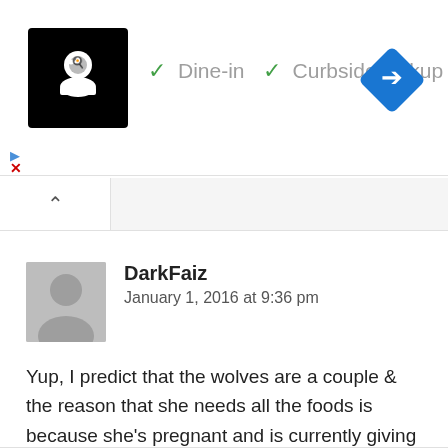[Figure (screenshot): Ad banner with restaurant logo (chef icon on black background), Dine-in and Curbside pickup checkmarks, and a blue navigation diamond icon]
[Figure (screenshot): Collapse/caret UI control bar with upward chevron button]
DarkFaiz
January 1, 2016 at 9:36 pm
Yup, I predict that the wolves are a couple & the reason that she needs all the foods is because she's pregnant and is currently giving birth to a litter or something
Loading...
Reply ↓